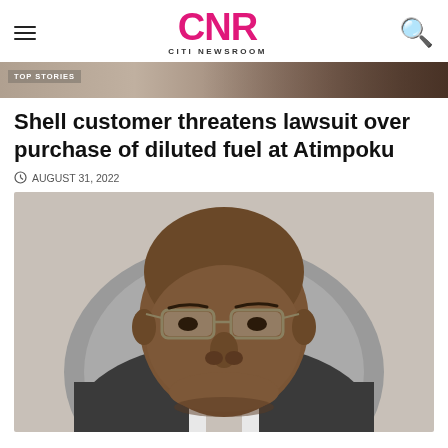CNR CITI NEWSROOM
[Figure (photo): Top banner image strip showing partial photo with TOP STORIES label overlay]
Shell customer threatens lawsuit over purchase of diluted fuel at Atimpoku
AUGUST 31, 2022
[Figure (photo): Portrait photo of a middle-aged African man wearing glasses and a dark suit, seated in a grey leather chair, looking directly at camera]